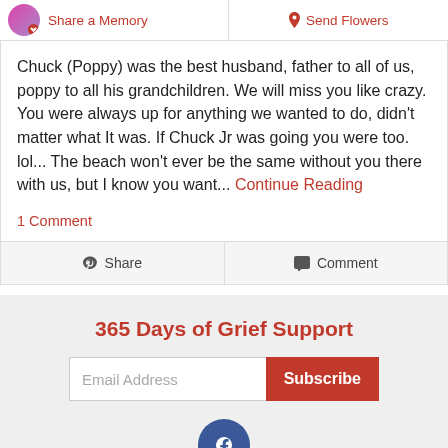Share a Memory | Send Flowers
Chuck (Poppy) was the best husband, father to all of us, poppy to all his grandchildren. We will miss you like crazy. You were always up for anything we wanted to do, didn't matter what It was. If Chuck Jr was going you were too. lol... The beach won't ever be the same without you there with us, but I know you want... Continue Reading
1 Comment
Share | Comment
365 Days of Grief Support
Email Address
Subscribe